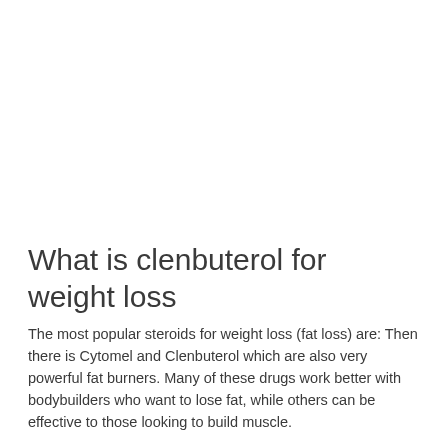What is clenbuterol for weight loss
The most popular steroids for weight loss (fat loss) are: Then there is Cytomel and Clenbuterol which are also very powerful fat burners. Many of these drugs work better with bodybuilders who want to lose fat, while others can be effective to those looking to build muscle.